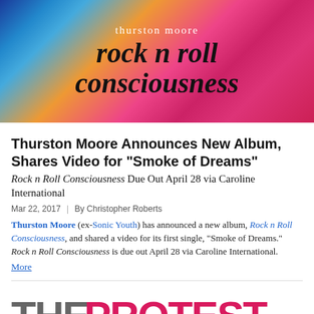[Figure (illustration): Album cover for Thurston Moore's 'Rock n Roll Consciousness' — colorful gradient background in blues, oranges, and pinks with the artist name and album title in dark italic serif font.]
Thurston Moore Announces New Album, Shares Video for “Smoke of Dreams”
Rock n Roll Consciousness Due Out April 28 via Caroline International
Mar 22, 2017 | By Christopher Roberts
Thurston Moore (ex-Sonic Youth) has announced a new album, Rock n Roll Consciousness, and shared a video for its first single, “Smoke of Dreams.” Rock n Roll Consciousness is due out April 28 via Caroline International. More
[Figure (illustration): Text graphic reading 'THE PROTEST AUCTION' in large bold letters: 'THE' in gray, 'PROTEST' in pink/magenta, 'AUCTION' in blue/cyan.]